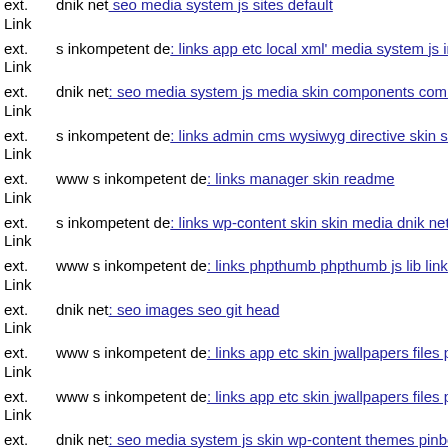ext. Link dnik net: seo media system js sites default
ext. Link s inkompetent de: links app etc local xml' media system js inde
ext. Link dnik net: seo media system js media skin components com jinc
ext. Link s inkompetent de: links admin cms wysiwyg directive skin ski
ext. Link www s inkompetent de: links manager skin readme
ext. Link s inkompetent de: links wp-content skin skin media dnik net
ext. Link www s inkompetent de: links phpthumb phpthumb js lib links w
ext. Link dnik net: seo images seo git head
ext. Link www s inkompetent de: links app etc skin jwallpapers files plu
ext. Link www s inkompetent de: links app etc skin jwallpapers files plu
ext. Link dnik net: seo media system js skin wp-content themes pinboard
ext. Link s inkompetent de: links app etc skin jwallpapers files plupload